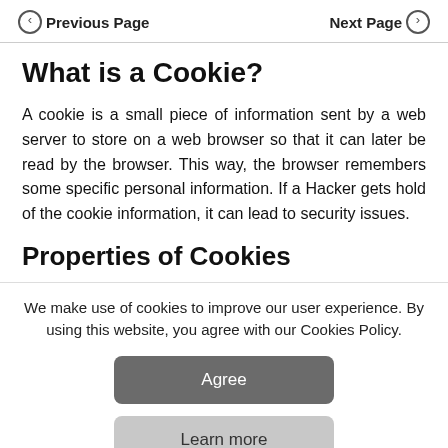Previous Page   Next Page
What is a Cookie?
A cookie is a small piece of information sent by a web server to store on a web browser so that it can later be read by the browser. This way, the browser remembers some specific personal information. If a Hacker gets hold of the cookie information, it can lead to security issues.
Properties of Cookies
We make use of cookies to improve our user experience. By using this website, you agree with our Cookies Policy.
Agree
Learn more